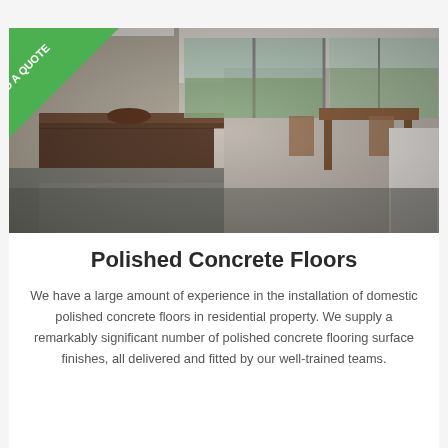[Figure (photo): Interior photo of a modern kitchen with polished concrete floors, a large dark brown island, floor-to-ceiling windows overlooking a garden, and a dining area in the background. A green 'NEED A QUOTE' diagonal banner badge is in the top-left corner.]
Polished Concrete Floors
We have a large amount of experience in the installation of domestic polished concrete floors in residential property. We supply a remarkably significant number of polished concrete flooring surface finishes, all delivered and fitted by our well-trained teams.